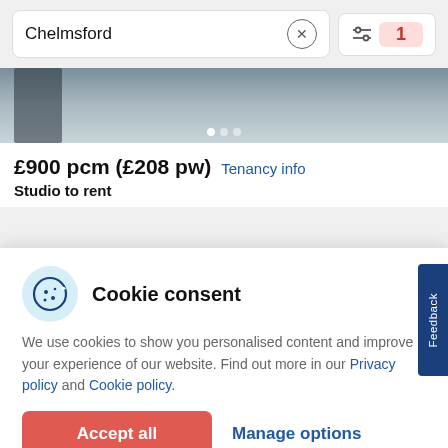Chelmsford
[Figure (photo): Property exterior photo showing driveway and entrance door, partially visible]
£900 pcm (£208 pw) Tenancy info
Studio to rent
Cookie consent
We use cookies to show you personalised content and improve your experience of our website. Find out more in our Privacy policy and Cookie policy.
Accept all
Manage options
Feedback